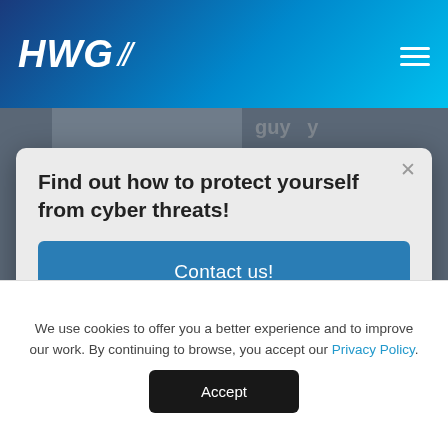HWG
[Figure (screenshot): Background webpage content with thumbnail images and partial text, dimmed behind modal overlay]
Find out how to protect yourself from cyber threats!
Contact us!
17 Mar 2022
We use cookies to offer you a better experience and to improve our work. By continuing to browse, you accept our Privacy Policy.
Accept